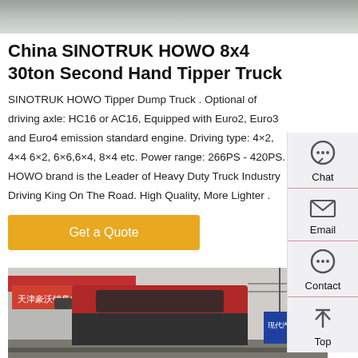[Figure (photo): Top photo of a road/ground surface, gray tones]
China SINOTRUK HOWO 8x4 30ton Second Hand Tipper Truck
SINOTRUK HOWO Tipper Dump Truck . Optional of driving axle: HC16 or AC16, Equipped with Euro2, Euro3 and Euro4 emission standard engine. Driving type: 4×2, 4×4 6×2, 6×6,6×4, 8×4 etc. Power range: 266PS - 420PS. HOWO brand is the Leader of Heavy Duty Truck Industry Driving King On The Road. High Quality, More Lighter .
[Figure (photo): Get a Quote button (yellow/orange)]
[Figure (photo): Bottom photo of a red HOWO truck in front of a dealership with Chinese signage]